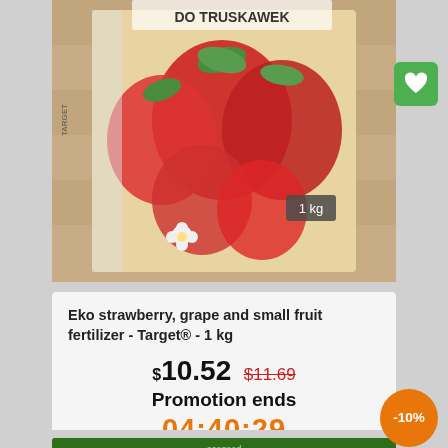[Figure (photo): Product image of Eko strawberry fertilizer box with strawberries, labeled 'DO TRUSKAWEK' and '1 kg']
Eko strawberry, grape and small fruit fertilizer - Target® - 1 kg
$10.52  $11.69
Promotion ends
04:40:29
ADD TO CART
[Figure (photo): Green product box partially visible at the bottom, appears to be another fertilizer product]
-10%